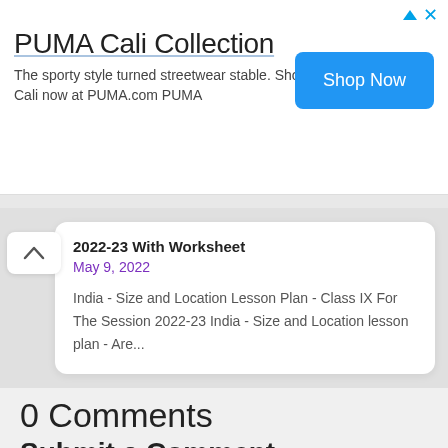[Figure (other): PUMA Cali Collection advertisement banner with Shop Now button]
2022-23 With Worksheet
May 9, 2022
India - Size and Location Lesson Plan - Class IX For The Session 2022-23 India - Size and Location lesson plan - Are...
0 Comments
Submit a Comment
Your email address will not be published.